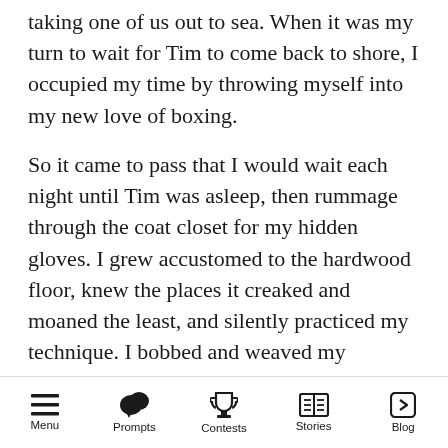taking one of us out to sea. When it was my turn to wait for Tim to come back to shore, I occupied my time by throwing myself into my new love of boxing.
So it came to pass that I would wait each night until Tim was asleep, then rummage through the coat closet for my hidden gloves. I grew accustomed to the hardwood floor, knew the places it creaked and moaned the least, and silently practiced my technique. I bobbed and weaved my imaginary rivals, crouched when they went high, delivered perfect TKO uppercuts. I made sure that when the time came,
Menu  Prompts  Contests  Stories  Blog